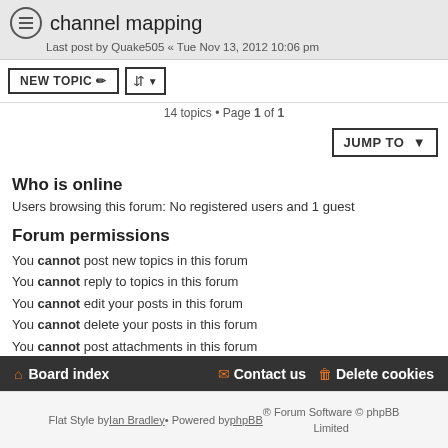channel mapping
Last post by Quake505 « Tue Nov 13, 2012 10:06 pm
14 topics • Page 1 of 1
Who is online
Users browsing this forum: No registered users and 1 guest
Forum permissions
You cannot post new topics in this forum
You cannot reply to topics in this forum
You cannot edit your posts in this forum
You cannot delete your posts in this forum
You cannot post attachments in this forum
Board index • Contact us • Delete cookies
Flat Style by Ian Bradley • Powered by phpBB® Forum Software © phpBB Limited